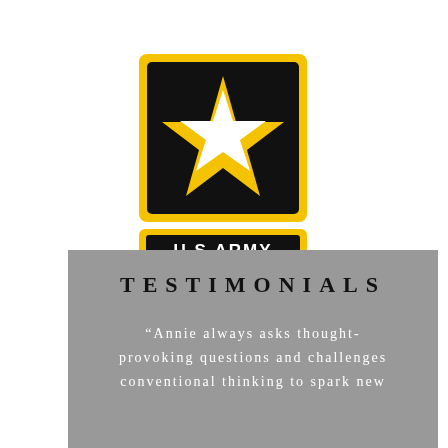[Figure (logo): U.S. Army logo: black square with yellow border containing a gold and white star, below it a black rectangular badge with yellow border reading 'U.S.ARMY' in white bold text]
TESTIMONIALS
“Annie always asks thought-provoking questions and challenges conventional thinking to spark new